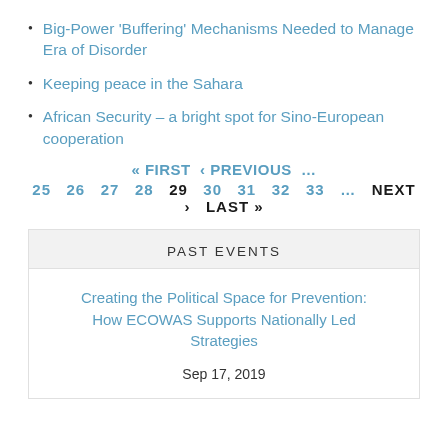Big-Power 'Buffering' Mechanisms Needed to Manage Era of Disorder
Keeping peace in the Sahara
African Security – a bright spot for Sino-European cooperation
« FIRST  ‹ PREVIOUS  …  25  26  27  28  29  30  31  32  33  …  NEXT ›  LAST »
PAST EVENTS
Creating the Political Space for Prevention: How ECOWAS Supports Nationally Led Strategies
Sep 17, 2019